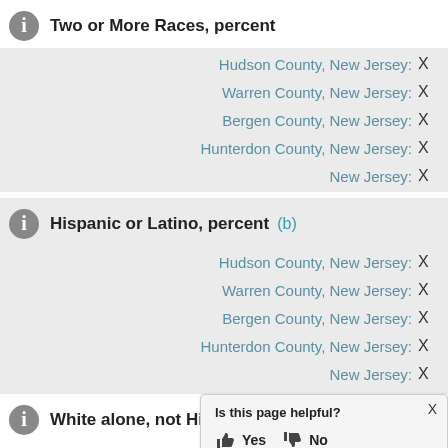Two or More Races, percent
Hudson County, New Jersey: X
Warren County, New Jersey: X
Bergen County, New Jersey: X
Hunterdon County, New Jersey: X
New Jersey: X
Hispanic or Latino, percent (b)
Hudson County, New Jersey: X
Warren County, New Jersey: X
Bergen County, New Jersey: X
Hunterdon County, New Jersey: X
New Jersey: X
White alone, not Hispanic or Latino, percent
Hudson County, New Jersey: